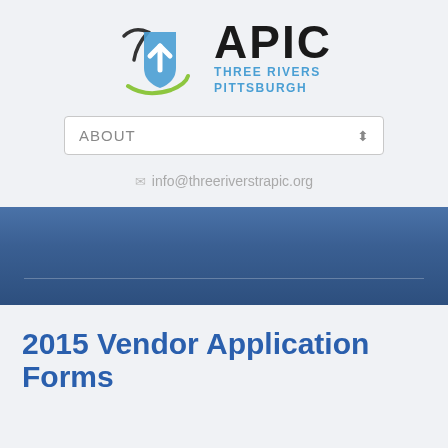[Figure (logo): APIC Three Rivers Pittsburgh logo with blue shield icon and green swoosh]
ABOUT ⬍
info@threeriverstrapic.org
2015 Vendor Application Forms